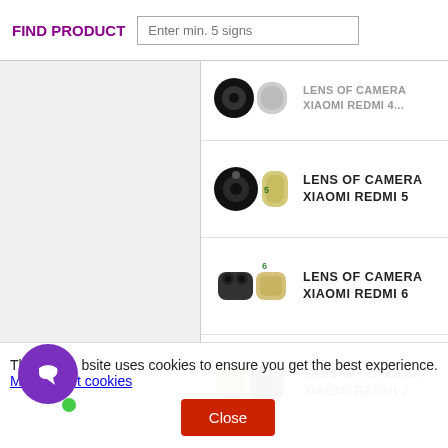FIND PRODUCT
Enter min. 5 signs
LENS OF CAMERA XIAOMI REDMI 4 (partial, top)
LENS OF CAMERA XIAOMI REDMI 5
LENS OF CAMERA XIAOMI REDMI 6
LENS OF CAMERA XIAOMI REDMI 7
LENS OF CAMERA XIAOMI REDMI 9A
(partial item at bottom)
This website uses cookies to ensure you get the best experience. More about cookies
Close